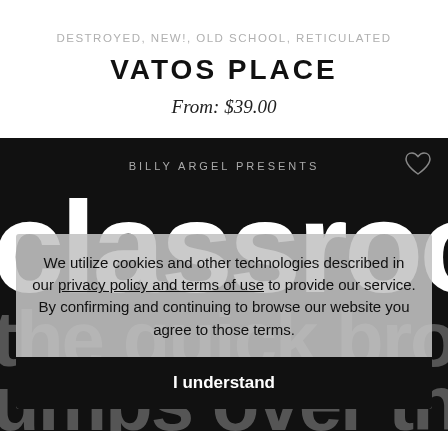DESTROYED, NEW!, OLD SCHOOL, RETICULATED
VATOS PLACE
From: $39.00
[Figure (illustration): Black background section with 'BILLY ARGEL PRESENTS' text, large white decorative font showing 'classroom' and 'the quick brown fox jumps over the lazy do', a heart icon, and an overlaid cookie consent popup.]
We utilize cookies and other technologies described in our privacy policy and terms of use to provide our service. By confirming and continuing to browse our website you agree to those terms.
I understand